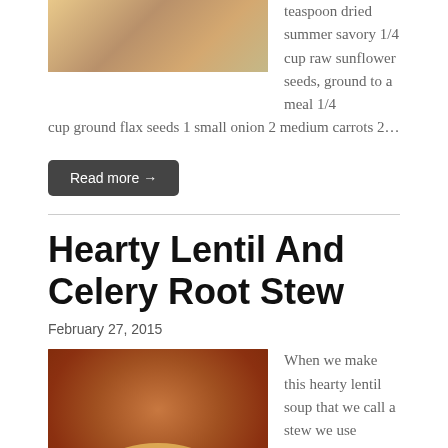[Figure (photo): Photo of food item, partially visible at top of page]
teaspoon dried summer savory 1/4 cup raw sunflower seeds, ground to a meal 1/4 cup ground flax seeds 1 small onion 2 medium carrots 2…
Read more →
Hearty Lentil And Celery Root Stew
February 27, 2015
[Figure (photo): Photo of a bowl of hearty lentil and celery root stew with grain topping]
When we make this hearty lentil soup that we call a stew we use vegetable stock or water. When we add the tomato product we also add the same amount of water to